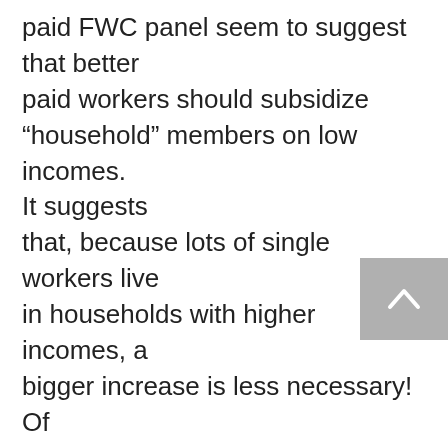paid FWC panel seem to suggest that better paid workers should subsidize “household” members on low incomes. It suggests that, because lots of single workers live in households with higher incomes, a bigger increase is less necessary! Of course, there is an arcane economic argument and loads of statistics that try to justify this, just as there are to pull it apart. In the end it’s not economic thought that prevails but naked class power. It’s a form of class warfare. Much of the reasoning looks at the wages of low paid workers relative to higher paid workers. Hardly any examines the relationship between specific wage levels, wages generally